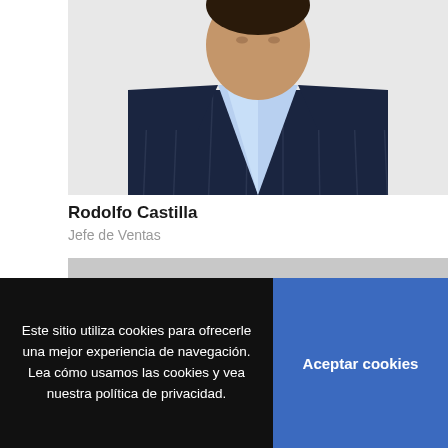[Figure (photo): Professional headshot of Rodolfo Castilla, a man in a dark navy pinstripe suit with light blue shirt, photo cropped at upper torso]
Rodolfo Castilla
Jefe de Ventas
[Figure (photo): Partial professional headshot of a second person, top of head visible with short dark hair, gray background, image cut off by cookie banner]
Este sitio utiliza cookies para ofrecerle una mejor experiencia de navegación. Lea cómo usamos las cookies y vea nuestra política de privacidad.
Aceptar cookies